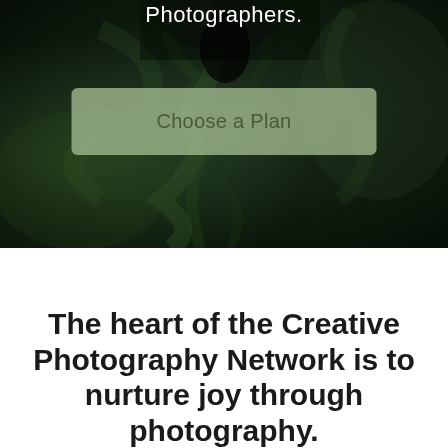[Figure (photo): Dark green leaf macro photograph used as hero background with a muted sage-green 'Choose a Plan' button overlay in the center]
Photographers.
Choose a Plan
The heart of the Creative Photography Network is to nurture joy through photography.